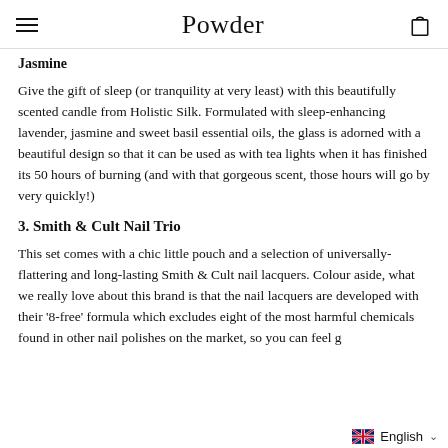Powder
Jasmine
Give the gift of sleep (or tranquility at very least) with this beautifully scented candle from Holistic Silk. Formulated with sleep-enhancing lavender, jasmine and sweet basil essential oils, the glass is adorned with a beautiful design so that it can be used as with tea lights when it has finished its 50 hours of burning (and with that gorgeous scent, those hours will go by very quickly!)
3. Smith & Cult Nail Trio
This set comes with a chic little pouch and a selection of universally-flattering and long-lasting Smith & Cult nail lacquers. Colour aside, what we really love about this brand is that the nail lacquers are developed with their '8-free' formula which excludes eight of the most harmful chemicals found in other nail polishes on the market, so you can feel g
English